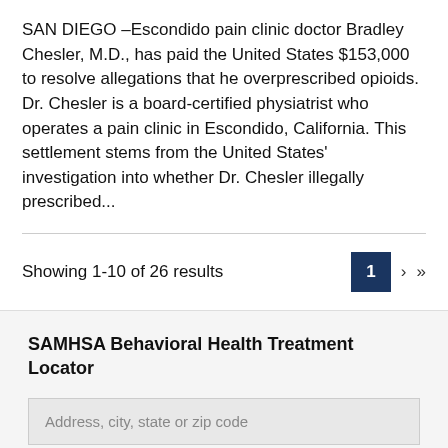SAN DIEGO –Escondido pain clinic doctor Bradley Chesler, M.D., has paid the United States $153,000 to resolve allegations that he overprescribed opioids. Dr. Chesler is a board-certified physiatrist who operates a pain clinic in Escondido, California. This settlement stems from the United States' investigation into whether Dr. Chesler illegally prescribed...
Showing 1-10 of 26 results
SAMHSA Behavioral Health Treatment Locator
Address, city, state or zip code